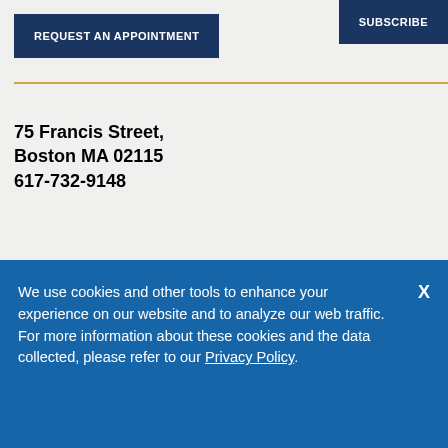REQUEST AN APPOINTMENT
SUBSCRIBE
75 Francis Street,
Boston MA 02115
617-732-9148
Services
Find a Doctor
We use cookies and other tools to enhance your experience on our website and to analyze our web traffic. For more information about these cookies and the data collected, please refer to our Privacy Policy.